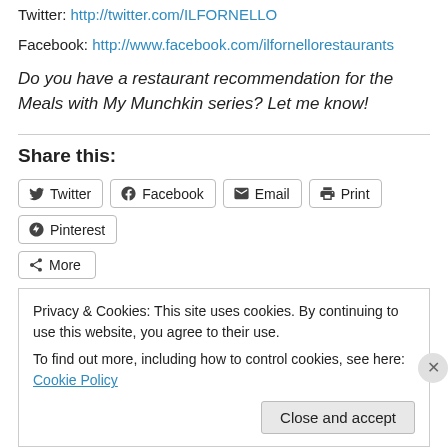Twitter: http://twitter.com/ILFORNELLO
Facebook: http://www.facebook.com/ilfornellorestaurants
Do you have a restaurant recommendation for the Meals with My Munchkin series? Let me know!
Share this:
Twitter | Facebook | Email | Print | Pinterest | More
Privacy & Cookies: This site uses cookies. By continuing to use this website, you agree to their use. To find out more, including how to control cookies, see here: Cookie Policy